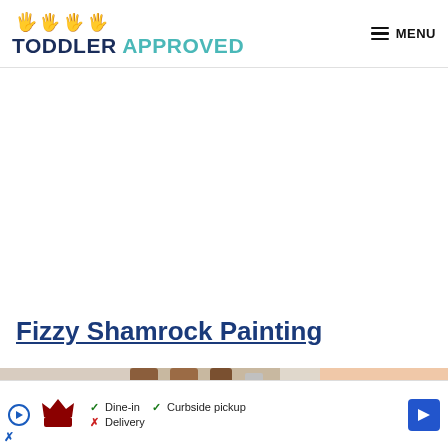TODDLER APPROVED — MENU
[Figure (screenshot): White advertisement space in the middle of the page]
Fizzy Shamrock Painting
[Figure (photo): Partial photo showing wooden sticks or craft materials on a light background]
[Figure (screenshot): Advertisement banner for Smoothie King showing Dine-in, Curbside pickup, and Delivery options with a blue navigation arrow icon]